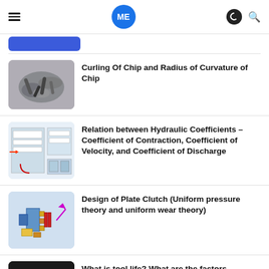ME (Mechanical Engineering portal) — hamburger menu, logo, dark mode icon, search icon
[Figure (screenshot): Blue button partially visible at top left]
[Figure (photo): Metal screws and chips scattered on a surface]
Curling Of Chip and Radius of Curvature of Chip
[Figure (engineering-diagram): Hydraulic coefficients diagram showing cross-sections and flow]
Relation between Hydraulic Coefficients – Coefficient of Contraction, Coefficient of Velocity, and Coefficient of Discharge
[Figure (engineering-diagram): Plate clutch assembly diagram with arrows and components]
Design of Plate Clutch (Uniform pressure theory and uniform wear theory)
[Figure (photo): Lathe machine tool cutting metal — dark background]
What is tool life? What are the factors affecting the tool life?
↓